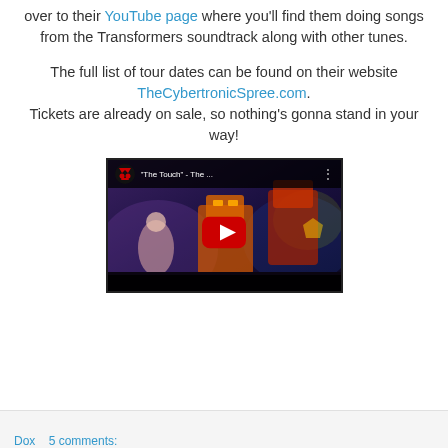over to their YouTube page where you'll find them doing songs from the Transformers soundtrack along with other tunes.
The full list of tour dates can be found on their website TheCybertronicSpree.com. Tickets are already on sale, so nothing's gonna stand in your way!
[Figure (screenshot): Embedded YouTube video thumbnail showing 'The Touch' - The ... with a play button overlay, performers in costume on stage with colorful lighting]
Dox   5 comments: